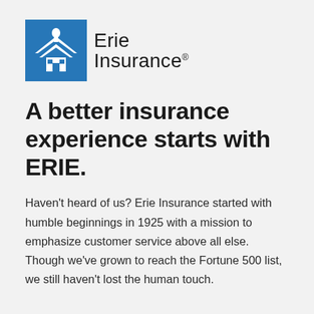[Figure (logo): Erie Insurance logo: blue square with white building/chevron icon on left, 'Erie Insurance' text with registered trademark symbol on right]
A better insurance experience starts with ERIE.
Haven't heard of us? Erie Insurance started with humble beginnings in 1925 with a mission to emphasize customer service above all else. Though we've grown to reach the Fortune 500 list, we still haven't lost the human touch.